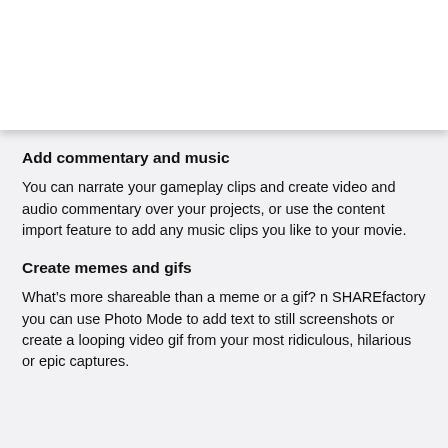Add commentary and music
You can narrate your gameplay clips and create video and audio commentary over your projects, or use the content import feature to add any music clips you like to your movie.
Create memes and gifs
What’s more shareable than a meme or a gif? n SHAREfactory you can use Photo Mode to add text to still screenshots or create a looping video gif from your most ridiculous, hilarious or epic captures.